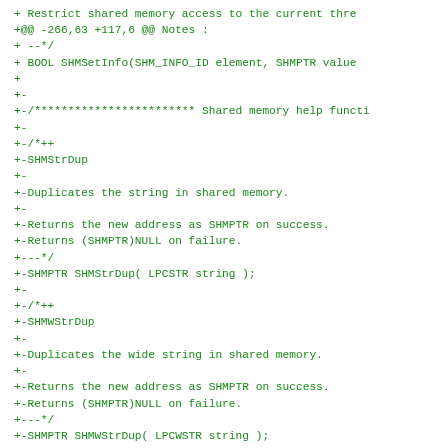+ Restrict shared memory access to the current thre
+@@ -266,63 +117,6 @@ Notes :
+ --*/
+ BOOL SHMSetInfo(SHM_INFO_ID element, SHMPTR value
+
+-
+-/************************ Shared memory help functi
+-
+-/*++
+-SHMStrDup
+-
+-Duplicates the string in shared memory.
+-
+-Returns the new address as SHMPTR on success.
+-Returns (SHMPTR)NULL on failure.
+---*/
+-SHMPTR SHMStrDup( LPCSTR string );
+-
+-/*++
+-SHMWStrDup
+-
+-Duplicates the wide string in shared memory.
+-
+-Returns the new address as SHMPTR on success.
+-Returns (SHMPTR)NULL on failure.
+---*/
+-SHMPTR SHMWStrDup( LPCWSTR string );
+-
+-
+-/*++